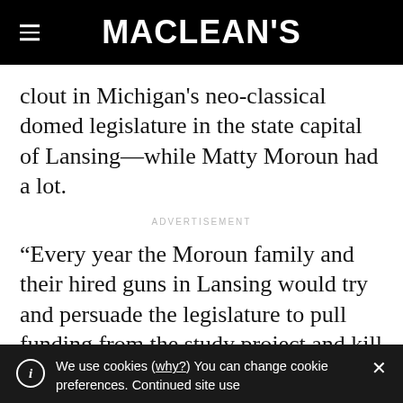MACLEAN'S
clout in Michigan's neo-classical domed legislature in the state capital of Lansing—while Matty Moroun had a lot.
ADVERTISEMENT
“Every year the Moroun family and their hired guns in Lansing would try and persuade the legislature to pull funding from the study project and kill it in its
We use cookies (why?) You can change cookie preferences. Continued site use